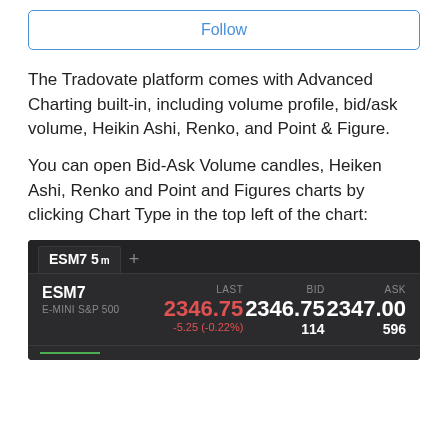Follow
The Tradovate platform comes with Advanced Charting built-in, including volume profile, bid/ask volume, Heikin Ashi, Renko, and Point & Figure.
You can open Bid-Ask Volume candles, Heiken Ashi, Renko and Point and Figures charts by clicking Chart Type in the top left of the chart:
[Figure (screenshot): A trading platform screenshot showing ESM7 5m tab with a quote panel displaying ESM7 (E-MINI S&P 500) with LAST: 2346.75 (red, -5.25 (-0.22%)), BID: 2346.75 (114), ASK: 2347.00 (596), with a partial green chart line at the bottom.]